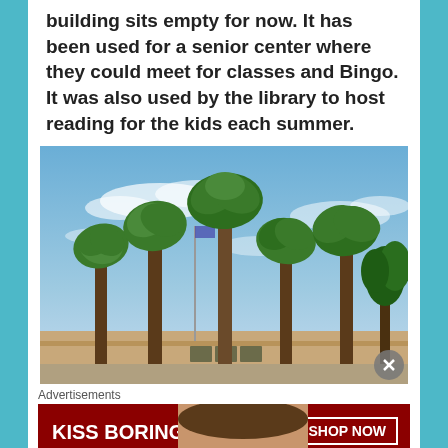building sits empty for now. It has been used for a senior center where they could meet for classes and Bingo. It was also used by the library to host reading for the kids each summer.
[Figure (photo): Outdoor photo showing tall palm trees against a blue sky with scattered clouds. A low tan/adobe-style building is visible at the base of the trees. A flag pole is visible on the left side.]
Advertisements
[Figure (infographic): Macy's advertisement banner with dark red background. Text reads 'KISS BORING LIPS GOODBYE' on the left, a woman's face with bold red lips in the center, and 'SHOP NOW' button with Macy's star logo on the right.]